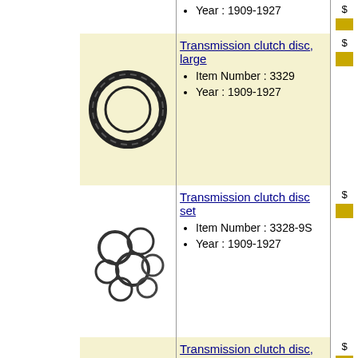Year : 1909-1927
Transmission clutch disc, large
Item Number : 3329
Year : 1909-1927
[Figure (photo): Transmission clutch disc, large - ring-shaped metal disc]
Transmission clutch disc set
Item Number : 3328-9S
Year : 1909-1927
[Figure (photo): Transmission clutch disc set - multiple ring-shaped metal discs]
Transmission clutch disc, small
Item Number : 3328
Year : 1909-1927
[Figure (photo): Transmission clutch disc, small - ring-shaped metal disc]
Page 1 of 1
Copyright © 2022, Langs Old Car Parts